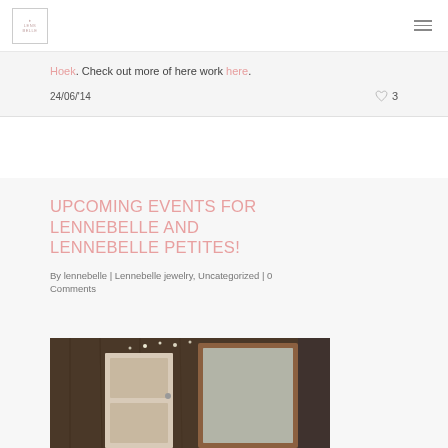lennebelle logo and navigation menu
Hoek. Check out more of here work here.
24/06/'14
UPCOMING EVENTS FOR LENNEBELLE AND LENNEBELLE PETITES!
By lennebelle | Lennebelle jewelry, Uncategorized | 0 Comments
[Figure (photo): Interior photo showing rustic wooden walls and door with a mirror, string lights visible in background]